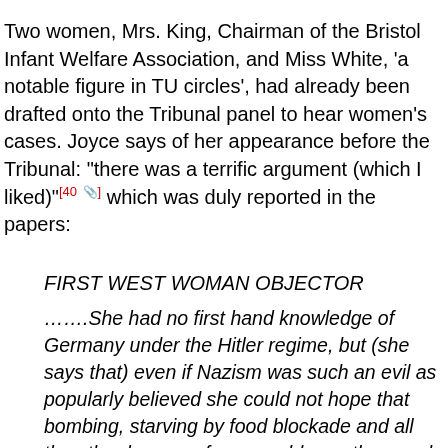Two women, Mrs. King, Chairman of the Bristol Infant Welfare Association, and Miss White, 'a notable figure in TU circles', had already been drafted onto the Tribunal panel to hear women's cases. Joyce says of her appearance before the Tribunal: "there was a terrific argument (which I liked)"[40] which was duly reported in the papers:
FIRST WEST WOMAN OBJECTOR
.......She had no first hand knowledge of Germany under the Hitler regime, but (she says that) even if Nazism was such an evil as popularly believed she could not hope that bombing, starving by food blockade and all the other horrors of war would cure the people